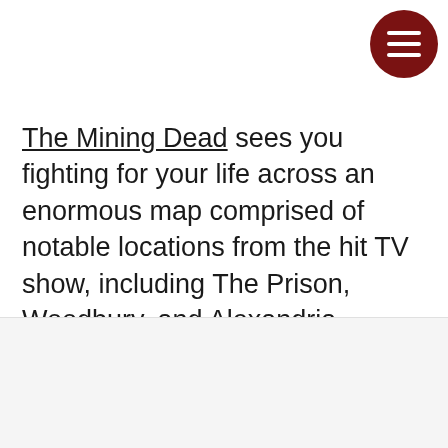[Figure (other): Dark red circular hamburger menu button with three white horizontal lines]
The Mining Dead sees you fighting for your life across an enormous map comprised of notable locations from the hit TV show, including The Prison, Woodbury, and Alexandria.
Similar to games like DayZ, the world is littered with undead enemies and aggressive players who will try to invade your base and steal your gear.